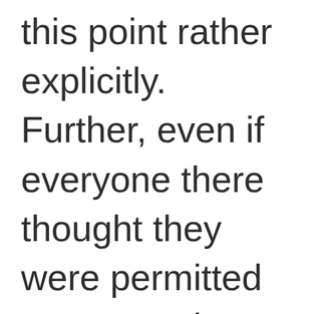this point rather explicitly. Further, even if everyone there thought they were permitted to engage in violent resistance, there